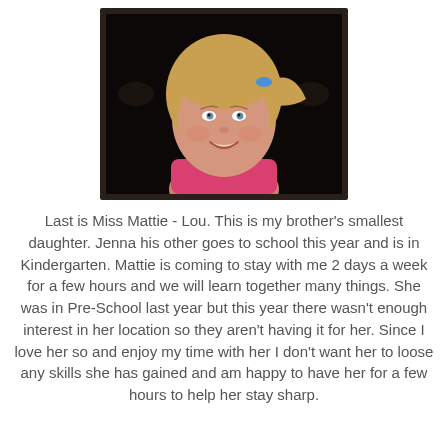[Figure (photo): Framed portrait photo of a young blonde girl smiling, wearing a pink top, with a blue hair clip, set against a dark background.]
Last is Miss Mattie - Lou. This is my brother's smallest daughter. Jenna his other goes to school this year and is in Kindergarten. Mattie is coming to stay with me 2 days a week for a few hours and we will learn together many things. She was in Pre-School last year but this year there wasn't enough interest in her location so they aren't having it for her. Since I love her so and enjoy my time with her I don't want her to loose any skills she has gained and am happy to have her for a few hours to help her stay sharp.